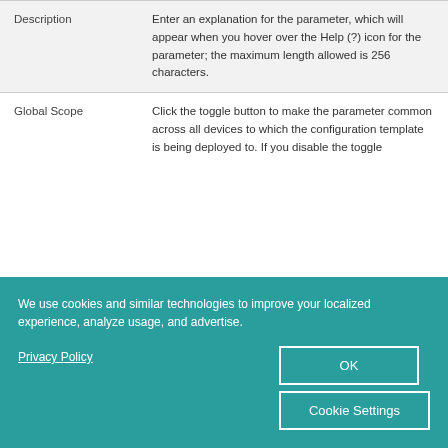| Field | Description |
| --- | --- |
| Description | Enter an explanation for the parameter, which will appear when you hover over the Help (?) icon for the parameter; the maximum length allowed is 256 characters. |
| Global Scope | Click the toggle button to make the parameter common across all devices to which the configuration template is being deployed to. If you disable the toggle |
We use cookies and similar technologies to improve your localized experience, analyze usage, and advertise.
Privacy Policy
OK
Cookie Settings